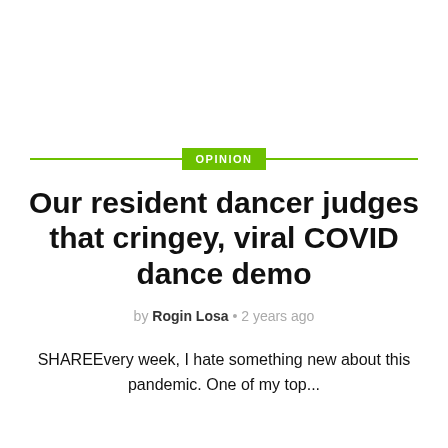OPINION
Our resident dancer judges that cringey, viral COVID dance demo
by Rogin Losa • 2 years ago
SHAREEvery week, I hate something new about this pandemic. One of my top...